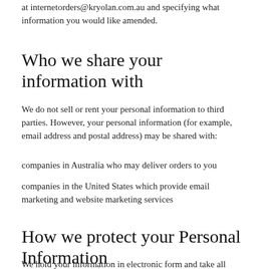at internetorders@kryolan.com.au and specifying what information you would like amended.
Who we share your information with
We do not sell or rent your personal information to third parties. However, your personal information (for example, email address and postal address) may be shared with:
companies in Australia who may deliver orders to you
companies in the United States which provide email marketing and website marketing services
How we protect your Personal Information
We hold your information in electronic form and take all reasonable steps to ensure it is secure and safe from unauthorised access. When your information is no longer